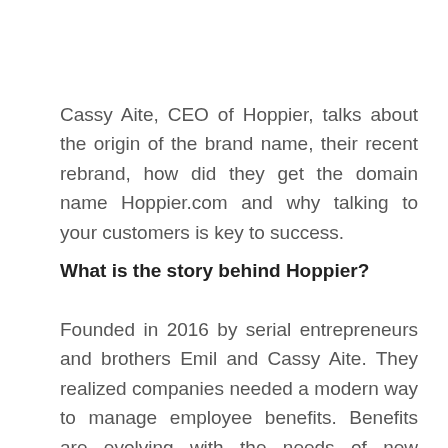Cassy Aite, CEO of Hoppier, talks about the origin of the brand name, their recent rebrand, how did they get the domain name Hoppier.com and why talking to your customers is key to success.
What is the story behind Hoppier?
Founded in 2016 by serial entrepreneurs and brothers Emil and Cassy Aite. They realized companies needed a modern way to manage employee benefits. Benefits are evolving with the needs of new generations and the ways